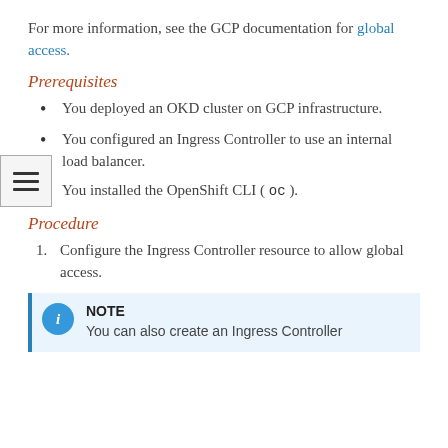For more information, see the GCP documentation for global access.
Prerequisites
You deployed an OKD cluster on GCP infrastructure.
You configured an Ingress Controller to use an internal load balancer.
You installed the OpenShift CLI ( oc ).
Procedure
1. Configure the Ingress Controller resource to allow global access.
NOTE
You can also create an Ingress Controller